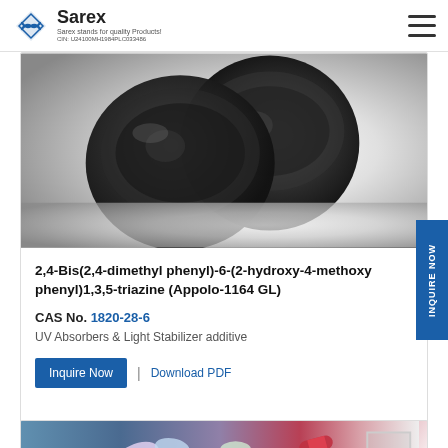Sarex — Sarex stands for quality Products! CIN: U24100MH1984PLC033486
[Figure (photo): Black plastic container/cap product photograph on white background]
2,4-Bis(2,4-dimethyl phenyl)-6-(2-hydroxy-4-methoxy phenyl)1,3,5-triazine (Appolo-1164 GL)
CAS No. 1820-28-6
UV Absorbers & Light Stabilizer additive
Inquire Now | Download PDF
[Figure (photo): Colorful assorted pills and capsules on dark background]